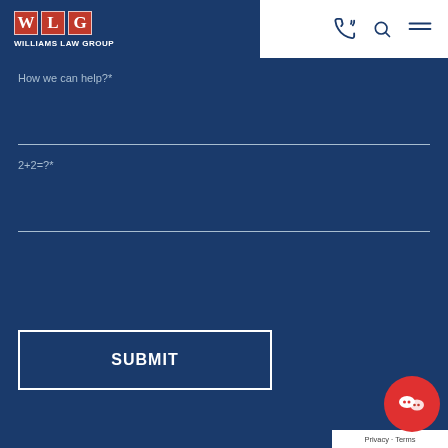[Figure (logo): Williams Law Group logo with red WLG letters on navy background and text WILLIAMS LAW GROUP]
How we can help?*
2+2=?*
SUBMIT
Privacy · Terms